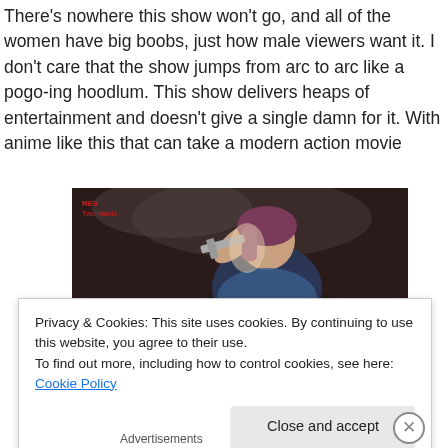There's nowhere this show won't go, and all of the women have big boobs, just how male viewers want it. I don't care that the show jumps from arc to arc like a pogo-ing hoodlum. This show delivers heaps of entertainment and doesn't give a single damn for it. With anime like this that can take a modern action movie
[Figure (illustration): Anime screenshot showing a female character with dark hair holding a gun, dark moody background with smoke. Small red text label 'REV Two Hands' in upper left corner.]
Privacy & Cookies: This site uses cookies. By continuing to use this website, you agree to their use.
To find out more, including how to control cookies, see here: Cookie Policy
Close and accept
Advertisements